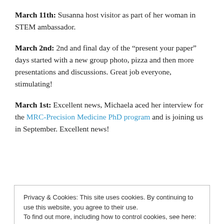March 11th: Susanna host visitor as part of her woman in STEM ambassador.
March 2nd: 2nd and final day of the “present your paper” days started with a new group photo, pizza and then more presentations and discussions. Great job everyone, stimulating!
March 1st: Excellent news, Michaela aced her interview for the MRC-Precision Medicine PhD program and is joining us in September. Excellent news!
Privacy & Cookies: This site uses cookies. By continuing to use this website, you agree to their use.
To find out more, including how to control cookies, see here: Cookie Policy
general a challenging year, but also productive. Lisa